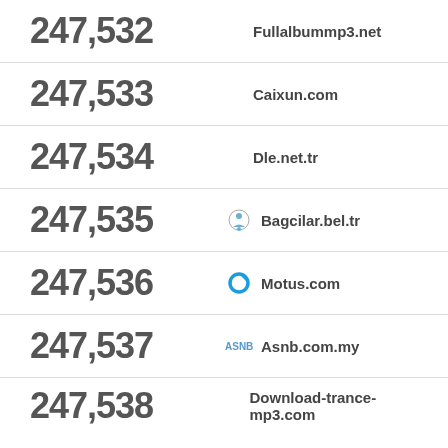247,532  Fullalbummp3.net
247,533  Caixun.com
247,534  Dle.net.tr
247,535  Bagcilar.bel.tr
247,536  Motus.com
247,537  Asnb.com.my
247,538  Download-trance-mp3.com